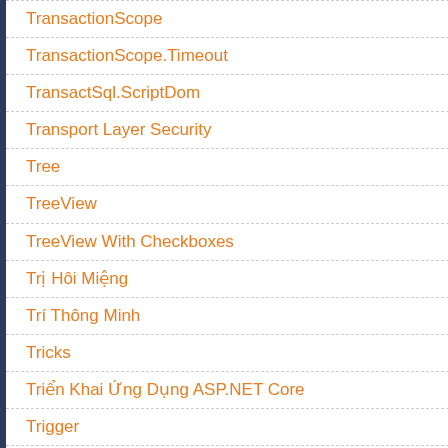TransactionScope
TransactionScope.Timeout
TransactSql.ScriptDom
Transport Layer Security
Tree
TreeView
TreeView With Checkboxes
Trị Hôi Miệng
Trí Thông Minh
Tricks
Triển Khai Ứng Dụng ASP.NET Core
Trigger
Trò Chơi
Trước Khi Nhảy Vào Học Code
Trưởng Phòng IT
TSL